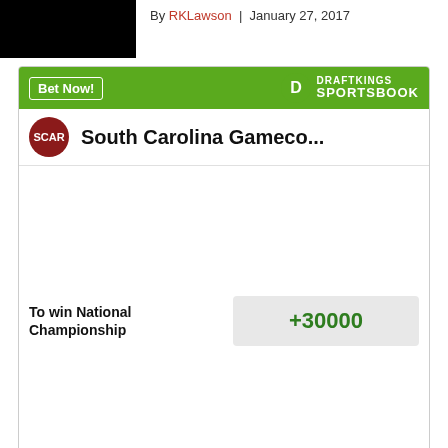[Figure (photo): Black image block placeholder (author photo or article image)]
By RKLawson | January 27, 2017
[Figure (infographic): DraftKings Sportsbook betting widget showing South Carolina Gameco... odds to win National Championship at +30000. Includes Bet Now button, DraftKings Sportsbook logo, team logo, and odds/lines disclaimer.]
AD
[Figure (photo): Bottom image strip, partially visible]